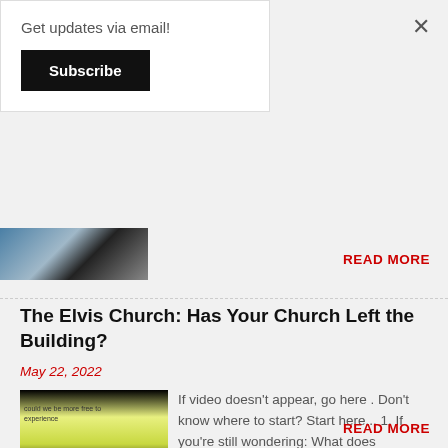Get updates via email!
Subscribe
×
[Figure (photo): Partial image thumbnail at top left of page]
READ MORE
The Elvis Church: Has Your Church Left the Building?
May 22, 2022
[Figure (photo): Thumbnail image with text 'could we be more free to experience His LOVE' with cartoon figures on green/yellow background]
If video doesn't appear, go here . Don't know where to start? Start here... 1. If you're still wondering: What does disciplemaking look ...
READ MORE